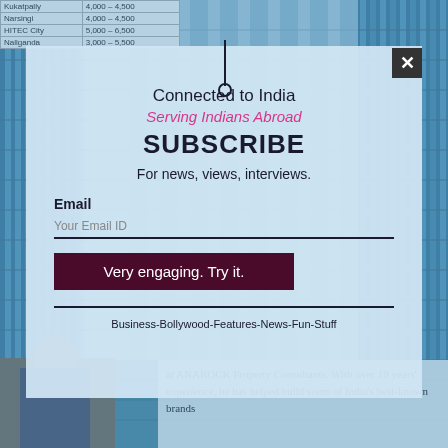| Kukatpally | 4,000 – 4,500 |
| Narsingi | 4,000 – 4,500 |
| HITEC City | 5,000 – 6,500 |
| Nallganda | 3,000 – 5,500 |
[Figure (photo): Background photo of glass skyscraper building with blue tint]
Connected to India
Serving Indians Abroad
SUBSCRIBE
For news, views, interviews.
Email
Your Email ID
Very engaging. Try it.
Business-Bollywood-Features-News-Fun-Stuff
at ANAROCK Property Consultants. With over 19 years' experience, he has helped build some of India's best-known brands